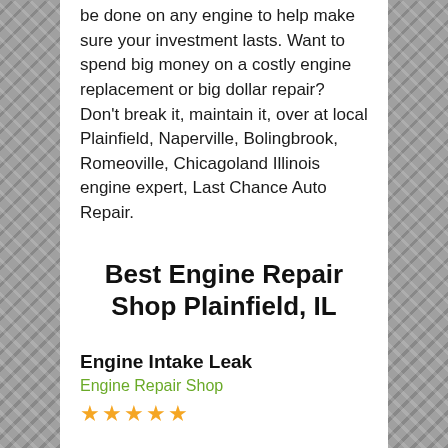be done on any engine to help make sure your investment lasts. Want to spend big money on a costly engine replacement or big dollar repair? Don't break it, maintain it, over at local Plainfield, Naperville, Bolingbrook, Romeoville, Chicagoland Illinois engine expert, Last Chance Auto Repair.
Best Engine Repair Shop Plainfield, IL
Engine Intake Leak
Engine Repair Shop
★★★★★